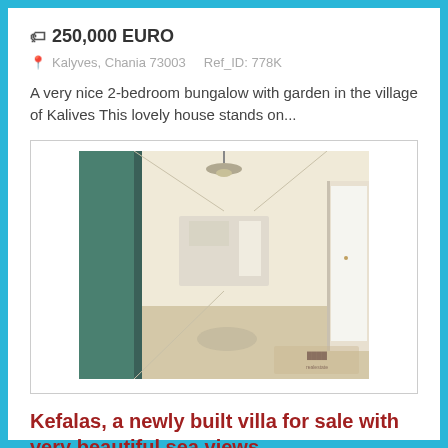🏷 250,000 EURO
📍 Kalyves, Chania 73003    Ref_ID: 778K
A very nice 2-bedroom bungalow with garden in the village of Kalives This lovely house stands on...
[Figure (photo): Interior photo of a bungalow room showing a hallway/living area with light walls, chandelier, and open doors]
Kefalas, a newly built villa for sale with very beautiful sea views
🏷 300,000 EURO
📍 Kefalas, Chania 73007    Ref_ID: 885K